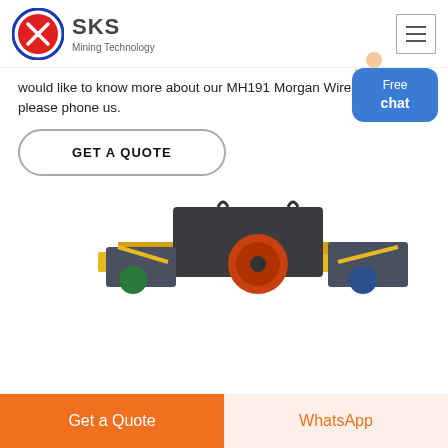SKS Mining Technology
would like to know more about our MH191 Morgan Wire Rod Mill please phone us.
GET A QUOTE
Free chat
[Figure (photo): Industrial mining machine (wire rod mill) with yellow and orange frame components, photographed from the side, partially cropped at bottom of page.]
Get a Quote
WhatsApp